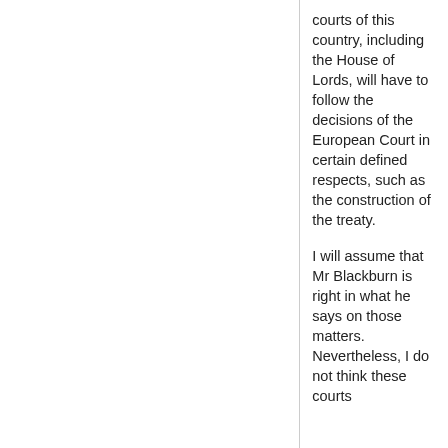courts of this country, including the House of Lords, will have to follow the decisions of the European Court in certain defined respects, such as the construction of the treaty.
I will assume that Mr Blackburn is right in what he says on those matters. Nevertheless, I do not think these courts